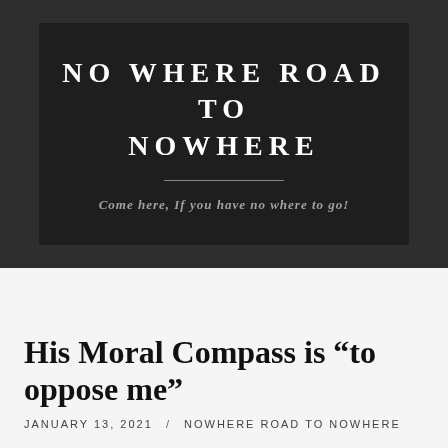NO WHERE ROAD TO NOWHERE
Come here, If you have no where to go!
His Moral Compass is “to oppose me”
JANUARY 13, 2021 / NOWHERE ROAD TO NOWHERE